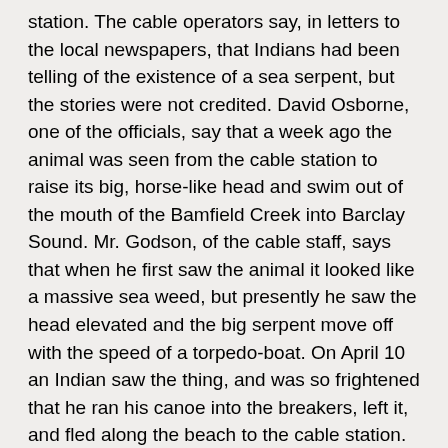station. The cable operators say, in letters to the local newspapers, that Indians had been telling of the existence of a sea serpent, but the stories were not credited. David Osborne, one of the officials, say that a week ago the animal was seen from the cable station to raise its big, horse-like head and swim out of the mouth of the Bamfield Creek into Barclay Sound. Mr. Godson, of the cable staff, says that when he first saw the animal it looked like a massive sea weed, but presently he saw the head elevated and the big serpent move off with the speed of a torpedo-boat. On April 10 an Indian saw the thing, and was so frightened that he ran his canoe into the breakers, left it, and fled along the beach to the cable station. The Indian said the thing had a head shaped like a horse, and its body, ten feet [3 m] of which was lifted, was the size of a barrel. The Indians in the neighbourhood are terrified.
Montrose, Scotland, 1903. Montrose, of course, is a city on